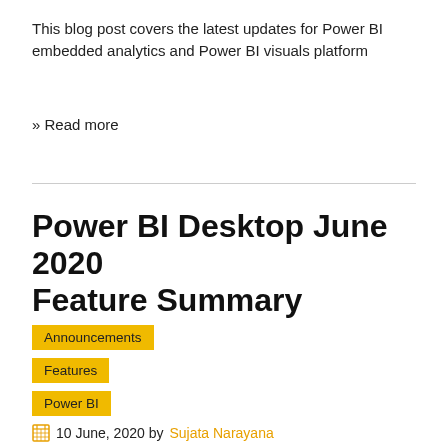This blog post covers the latest updates for Power BI embedded analytics and Power BI visuals platform
» Read more
Power BI Desktop June 2020 Feature Summary
Announcements
Features
Power BI
10 June, 2020 by Sujata Narayana